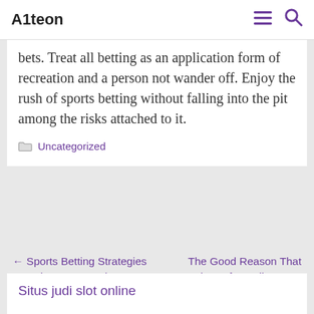A1teon
Some bettors are observed to display sudden swift changes in moods. Well, that has got to be attributed to winning some; losing some in bets. Treat all betting as an application form of recreation and a person not wander off. Enjoy the rush of sports betting without falling into the pit among the risks attached to it.
Uncategorized
← Sports Betting Strategies – Basic Sports Betting Terminologies
The Good Reason That People Prefer Online Free Casinos →
Situs judi slot online